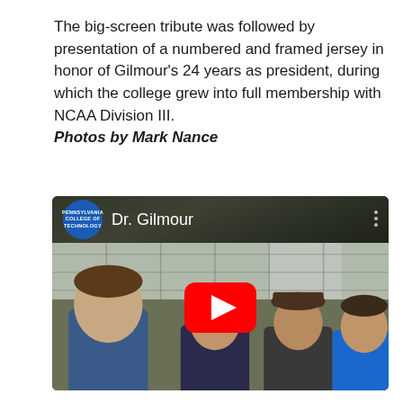The big-screen tribute was followed by presentation of a numbered and framed jersey in honor of Gilmour's 24 years as president, during which the college grew into full membership with NCAA Division III.
Photos by Mark Nance
[Figure (photo): YouTube video thumbnail showing four young men standing outside near a chain-link fence, with a Pennsylvania College of Technology logo and 'Dr. Gilmour' title overlay at the top, and a YouTube play button in the center.]